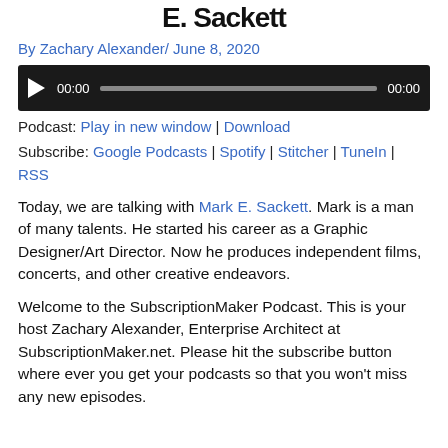E. Sackett
By Zachary Alexander/ June 8, 2020
[Figure (other): Audio player bar with play button, timestamp 00:00, progress bar, and end time 00:00 on dark background]
Podcast: Play in new window | Download
Subscribe: Google Podcasts | Spotify | Stitcher | TuneIn | RSS
Today, we are talking with Mark E. Sackett. Mark is a man of many talents. He started his career as a Graphic Designer/Art Director. Now he produces independent films, concerts, and other creative endeavors.
Welcome to the SubscriptionMaker Podcast. This is your host Zachary Alexander, Enterprise Architect at SubscriptionMaker.net. Please hit the subscribe button where ever you get your podcasts so that you won't miss any new episodes.